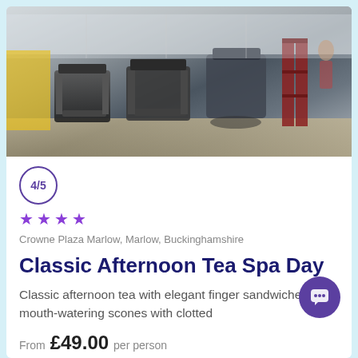[Figure (photo): Interior of a gym with treadmills, elliptical machines, and weight training equipment. The gym has a modern look with mirrors and good lighting.]
4/5
★★★★
Crowne Plaza Marlow, Marlow, Buckinghamshire
Classic Afternoon Tea Spa Day
Classic afternoon tea with elegant finger sandwiches, mouth-watering scones with clotted
From £49.00 per person